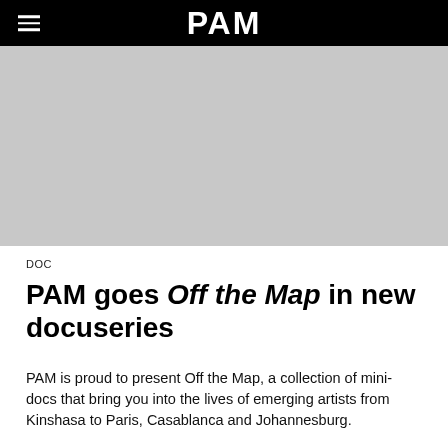PAM
[Figure (photo): Gray placeholder image area for a documentary or article image]
DOC
PAM goes Off the Map in new docuseries
PAM is proud to present Off the Map, a collection of mini-docs that bring you into the lives of emerging artists from Kinshasa to Paris, Casablanca and Johannesburg.